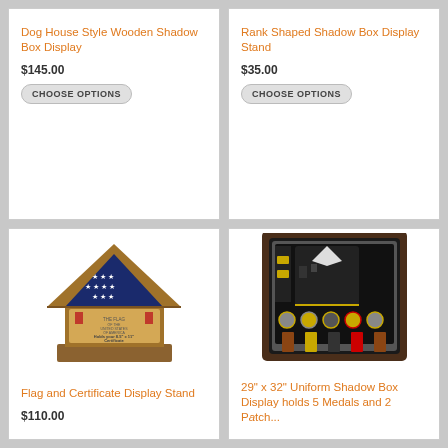Dog House Style Wooden Shadow Box Display
$145.00
CHOOSE OPTIONS
Rank Shaped Shadow Box Display Stand
$35.00
CHOOSE OPTIONS
[Figure (photo): Flag and Certificate Display Stand - wooden dog-house style case with folded American flag and certificate holder]
Flag and Certificate Display Stand
$110.00
[Figure (photo): 29" x 32" Uniform Shadow Box Display holds 5 Medals and 2 Patches - dark shadow box with Navy uniform, medals, and patches]
29" x 32" Uniform Shadow Box Display holds 5 Medals and 2 Patches